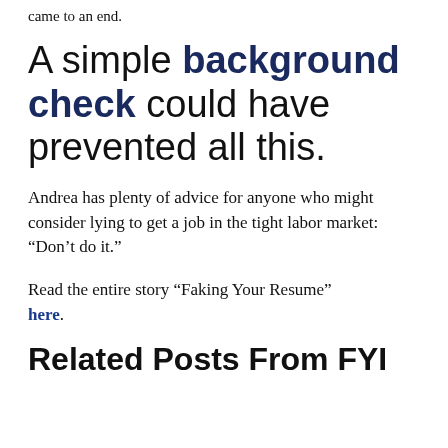came to an end.
A simple background check could have prevented all this.
Andrea has plenty of advice for anyone who might consider lying to get a job in the tight labor market: “Don’t do it.”
Read the entire story “Faking Your Resume” here.
Related Posts From FYI